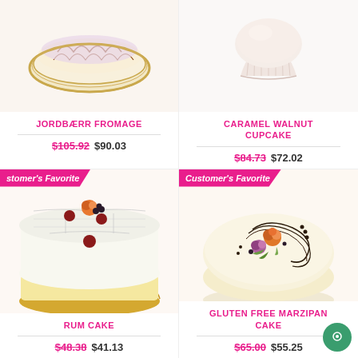[Figure (photo): Jordbærr Fromage cake - top portion visible with decorative gold bowl]
JORDBÆRR FROMAGE
$105.92  $90.03
[Figure (photo): Caramel Walnut Cupcake - pink/white cupcake]
CARAMEL WALNUT CUPCAKE
$84.73  $72.02
[Figure (photo): Rum Cake with Customer's Favorite badge - white layered cake with berries on top]
Customer's Favorite
RUM CAKE
$48.38  $41.13
[Figure (photo): Gluten Free Marzipan Cake with Customer's Favorite badge - round white cake with floral decoration]
Customer's Favorite
GLUTEN FREE MARZIPAN CAKE
$65.00  $55.25